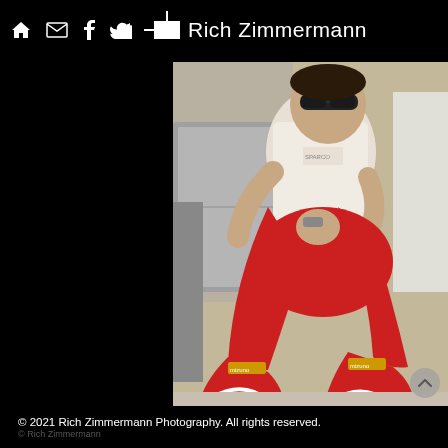Rich Zimmermann
[Figure (photo): A racing driver wearing red racing suit and red Mizuno racing shoes, sitting in a crouched position with sunglasses on, resting in the pit area. He wears a white Sparco t-shirt and a watch.]
© 2021 Rich Zimmermann Photography. All rights reserved.